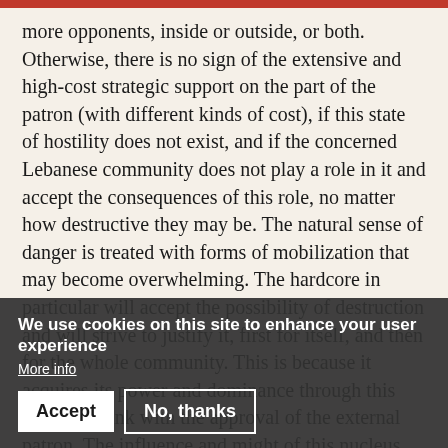more opponents, inside or outside, or both. Otherwise, there is no sign of the extensive and high-cost strategic support on the part of the patron (with different kinds of cost), if this state of hostility does not exist, and if the concerned Lebanese community does not play a role in it and accept the consequences of this role, no matter how destructive they may be. The natural sense of danger is treated with forms of mobilization that may become overwhelming. The hardcore in particular will accept the possibility of destruction and will strive to justify it, first for itself, and then for the whole community. This is because it acquires its power and dominance through this excessive link with the approval of the external patron. The influence and might of this nucleus foil any potential action of its opponents within the group and unless there is a far-reaching change in the broader political context, it remains difficult for opponents to rally and show solidarity against the
We use cookies on this site to enhance your user experience
More info
Accept
No, thanks